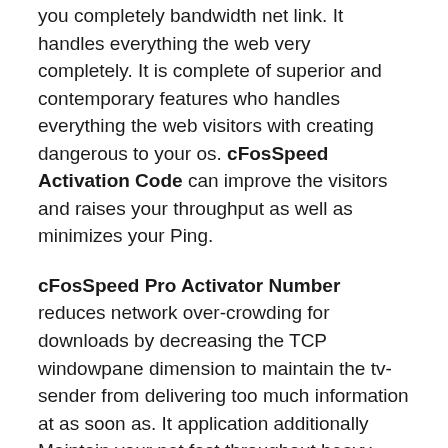you completely bandwidth net link. It handles everything the web very completely. It is complete of superior and contemporary features who handles everything the web visitors with creating dangerous to your os. cFosSpeed Activation Code can improve the visitors and raises your throughput as well as minimizes your Ping.
cFosSpeed Pro Activator Number reduces network over-crowding for downloads by decreasing the TCP windowpane dimension to maintain the tv-sender from delivering too much information at as soon as. It application additionally Maintain your net fast throughout heavy publish. It is very easy and you do not require for working this device for additional expertise. It operates as a web speed windows